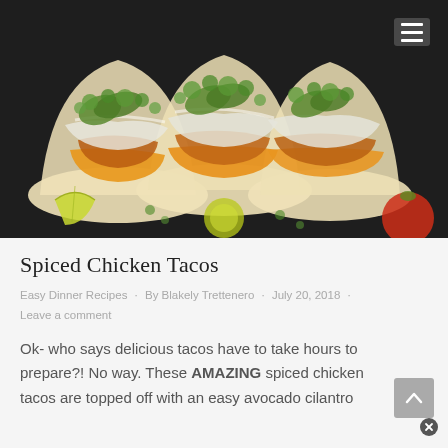[Figure (photo): Three spiced chicken tacos in flour tortillas topped with avocado slices, white creamy sauce, fresh cilantro, and orange/yellow peppers, arranged on a dark slate surface with lime wedges and a red tomato visible.]
Spiced Chicken Tacos
Easy Dinner Recipes · By Blakely Trettenero · July 20, 2018 · Leave a comment
Ok- who says delicious tacos have to take hours to prepare?! No way. These AMAZING spiced chicken tacos are topped off with an easy avocado cilantro